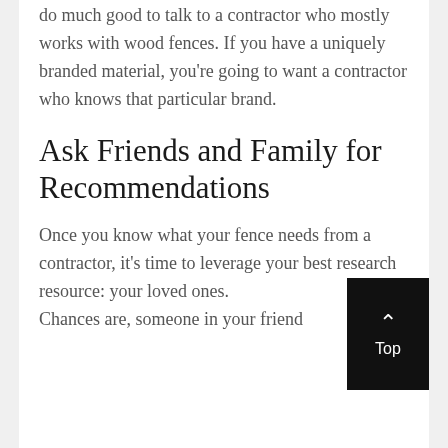do much good to talk to a contractor who mostly works with wood fences. If you have a uniquely branded material, you're going to want a contractor who knows that particular brand.
Ask Friends and Family for Recommendations
Once you know what your fence needs from a contractor, it's time to leverage your best research resource: your loved ones.
Chances are, someone in your friend